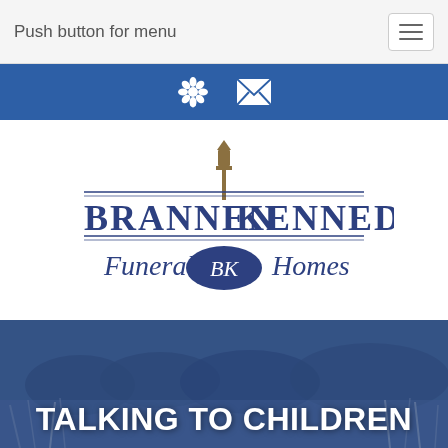Push button for menu
[Figure (screenshot): Blue icon bar with flower/settings icon and envelope/mail icon in white]
[Figure (logo): Brannen Kennedy Funeral Homes logo with lantern post and BK monogram oval badge]
[Figure (photo): Hero banner photo of tall grasses and trees with blue overlay and large white bold text reading TALKING TO CHILDREN]